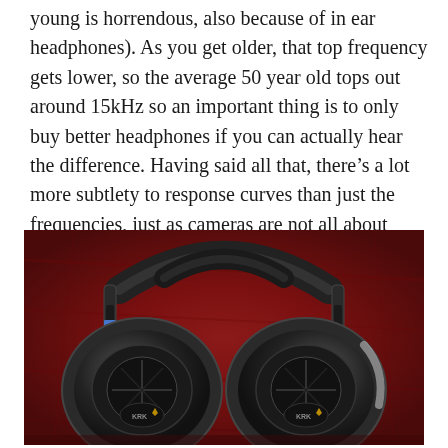young is horrendous, also because of in ear headphones). As you get older, that top frequency gets lower, so the average 50 year old tops out around 15kHz so an important thing is to only buy better headphones if you can actually hear the difference. Having said all that, there's a lot more subtlety to response curves than just the frequencies, just as cameras are not all about megapixels.
[Figure (photo): Photo of KRK over-ear headphones (black) lying flat on a dark red wooden surface, viewed from above. Both ear cups show the KRK logo.]